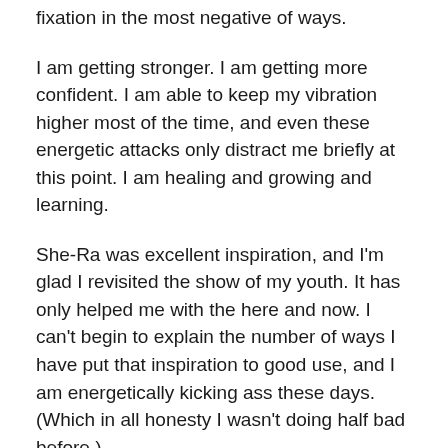fixation in the most negative of ways.
I am getting stronger. I am getting more confident. I am able to keep my vibration higher most of the time, and even these energetic attacks only distract me briefly at this point. I am healing and growing and learning.
She-Ra was excellent inspiration, and I'm glad I revisited the show of my youth. It has only helped me with the here and now. I can't begin to explain the number of ways I have put that inspiration to good use, and I am energetically kicking ass these days. (Which in all honesty I wasn't doing half bad before.)
Beyond that, I'm not really the vengeful sort, but I am very aware of all of the energetic ways to ensure this non-sense ends. If push comes to shove I will invoke any means necessary to end this stupid game of theirs. I know God would both understand, and accept my request for